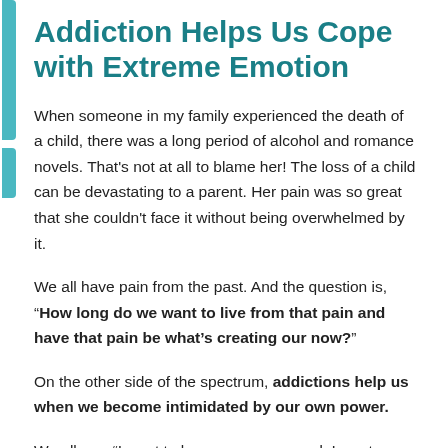Addiction Helps Us Cope with Extreme Emotion
When someone in my family experienced the death of a child, there was a long period of alcohol and romance novels. That’s not at all to blame her! The loss of a child can be devastating to a parent. Her pain was so great that she couldn’t face it without being overwhelmed by it.
We all have pain from the past. And the question is, “How long do we want to live from that pain and have that pain be what’s creating our now?”
On the other side of the spectrum, addictions help us when we become intimidated by our own power.
We all say, “I want to be more empowered. I want more